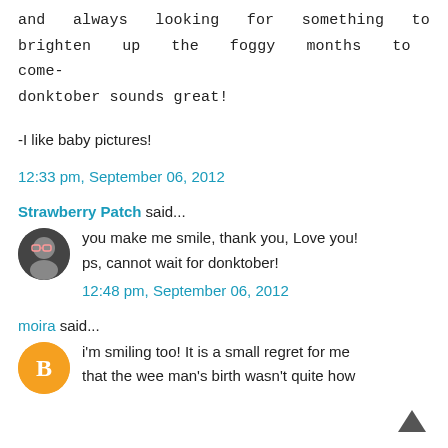and always looking for something to brighten up the foggy months to come-donktober sounds great!
-I like baby pictures!
12:33 pm, September 06, 2012
Strawberry Patch said...
you make me smile, thank you, Love you! ps, cannot wait for donktober!
12:48 pm, September 06, 2012
moira said...
i'm smiling too! It is a small regret for me that the wee man's birth wasn't quite how